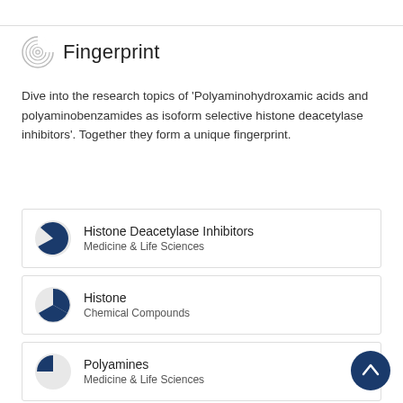Fingerprint
Dive into the research topics of 'Polyaminohydroxamic acids and polyaminobenzamides as isoform selective histone deacetylase inhibitors'. Together they form a unique fingerprint.
Histone Deacetylase Inhibitors
Medicine & Life Sciences
Histone
Chemical Compounds
Polyamines
Medicine & Life Sciences
Histone Deacetylases